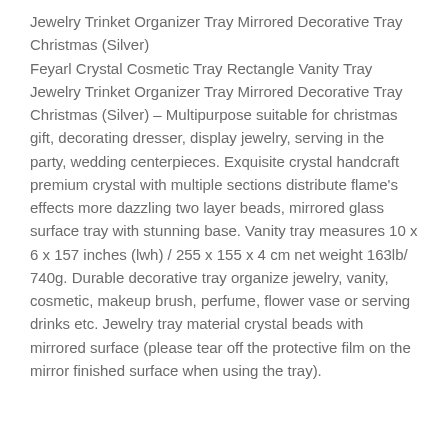Jewelry Trinket Organizer Tray Mirrored Decorative Tray Christmas (Silver)
Feyarl Crystal Cosmetic Tray Rectangle Vanity Tray Jewelry Trinket Organizer Tray Mirrored Decorative Tray Christmas (Silver) – Multipurpose suitable for christmas gift, decorating dresser, display jewelry, serving in the party, wedding centerpieces. Exquisite crystal handcraft premium crystal with multiple sections distribute flame's effects more dazzling two layer beads, mirrored glass surface tray with stunning base. Vanity tray measures 10 x 6 x 157 inches (lwh) / 255 x 155 x 4 cm net weight 163lb/ 740g. Durable decorative tray organize jewelry, vanity, cosmetic, makeup brush, perfume, flower vase or serving drinks etc. Jewelry tray material crystal beads with mirrored surface (please tear off the protective film on the mirror finished surface when using the tray).